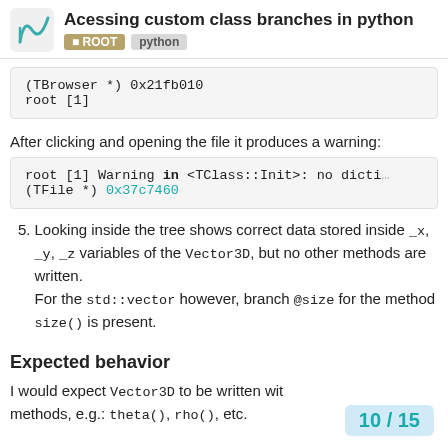Acessing custom class branches in python | ROOT python
(TBrowser *) 0x21fb010
root [1]
After clicking and opening the file it produces a warning:
root [1] Warning in <TClass::Init>: no dictio…
(TFile *) 0x37c7460
5. Looking inside the tree shows correct data stored inside _x, _y, _z variables of the Vector3D, but no other methods are written.
For the std::vector however, branch @size for the method size() is present.
Expected behavior
I would expect Vector3D to be written with methods, e.g.: theta(), rho(), etc.
10 / 15